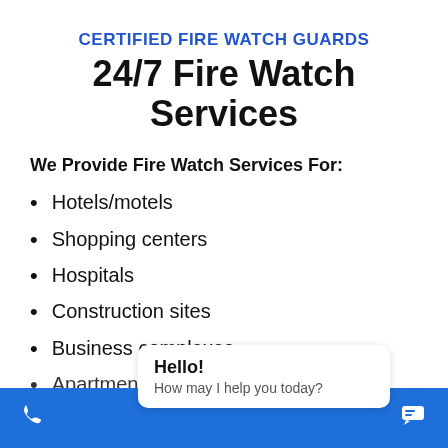CERTIFIED FIRE WATCH GUARDS
24/7 Fire Watch Services
We Provide Fire Watch Services For:
Hotels/motels
Shopping centers
Hospitals
Construction sites
Business complexes
Apartments...
Hello! How may I help you today?